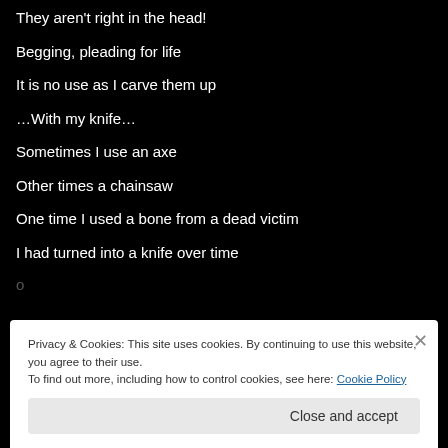They aren't right in the head!
Begging, pleading for life
It is no use as I carve them up
…With my knife…
Sometimes I use an axe
Other times a chainsaw
One time I used a bone from a dead victim
I had turned into a knife over time
Privacy & Cookies: This site uses cookies. By continuing to use this website, you agree to their use. To find out more, including how to control cookies, see here: Cookie Policy
Close and accept